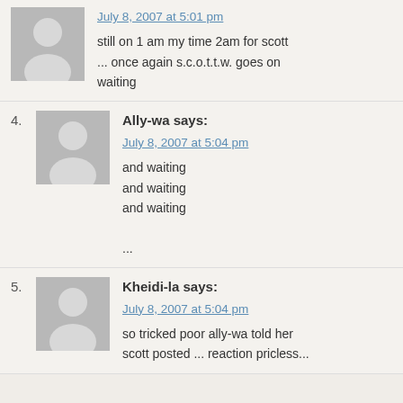July 8, 2007 at 5:01 pm
still on 1 am my time 2am for scott ... once again s.c.o.t.t.w. goes on waiting
4. Ally-wa says: July 8, 2007 at 5:04 pm
and waiting
and waiting
and waiting
...
5. Kheidi-la says: July 8, 2007 at 5:04 pm
so tricked poor ally-wa told her scott posted ... reaction pricless...